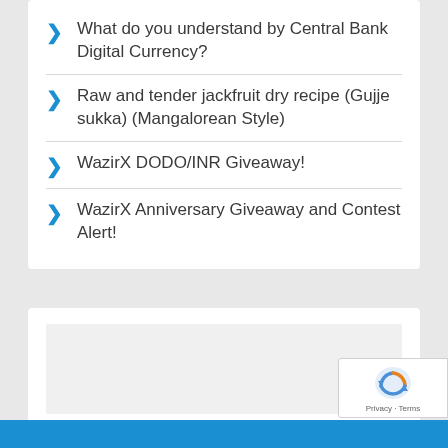What do you understand by Central Bank Digital Currency?
Raw and tender jackfruit dry recipe (Gujje sukka) (Mangalorean Style)
WazirX DODO/INR Giveaway!
WazirX Anniversary Giveaway and Contest Alert!
[Figure (screenshot): A gray placeholder box inside a white card, representing a widget or embedded content area. A reCAPTCHA badge is shown in the bottom-right corner. A blue bar runs across the bottom of the page.]